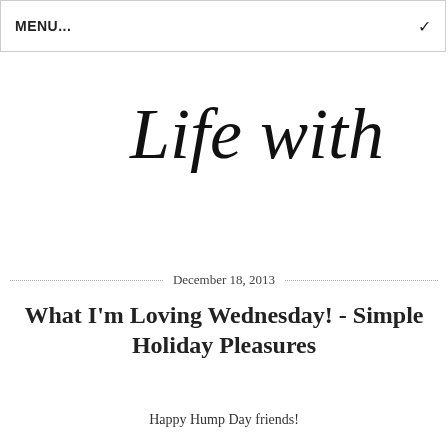MENU...
Life with Lolo
December 18, 2013
What I'm Loving Wednesday! - Simple Holiday Pleasures
Happy Hump Day friends!